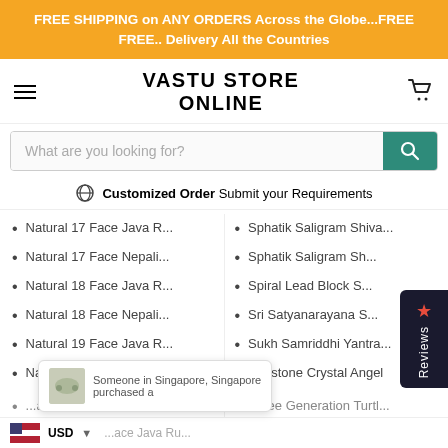FREE SHIPPING on ANY ORDERS Across the Globe...FREE FREE.. Delivery All the Countries
VASTU STORE ONLINE
What are you looking for?
Customized Order  Submit your Requirements
Natural 17 Face Java R...
Natural 17 Face Nepali...
Natural 18 Face Java R...
Natural 18 Face Nepali...
Natural 19 Face Java R...
Natural 19 Face Nepali...
Sphatik Saligram Shiva...
Sphatik Saligram Sh...
Spiral Lead Block S...
Sri Satyanarayana S...
Sukh Samriddhi Yantra...
Sunstone Crystal Angel
...ace Java Ru...
Three Generation Turtl...
...ace Nepali...
Tiger Eye Beads Mala